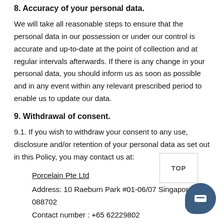8. Accuracy of your personal data.
We will take all reasonable steps to ensure that the personal data in our possession or under our control is accurate and up-to-date at the point of collection and at regular intervals afterwards. If there is any change in your personal data, you should inform us as soon as possible and in any event within any relevant prescribed period to enable us to update our data.
9. Withdrawal of consent.
9.1. If you wish to withdraw your consent to any use, disclosure and/or retention of your personal data as set out in this Policy, you may contact us at:
Porcelain Pte Ltd
Address: 10 Raeburn Park #01-06/07 Singapore 088702
Contact number : +65 62229802
Email address: knockknock@porcelainskin.com